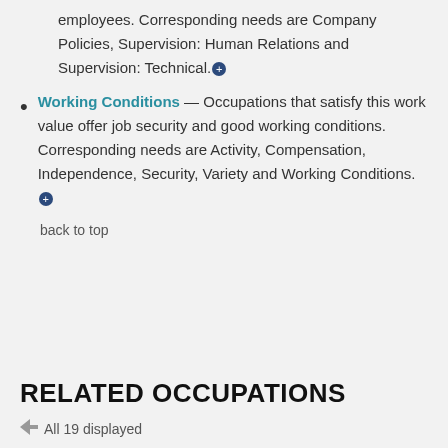employees. Corresponding needs are Company Policies, Supervision: Human Relations and Supervision: Technical.⊕
Working Conditions — Occupations that satisfy this work value offer job security and good working conditions. Corresponding needs are Activity, Compensation, Independence, Security, Variety and Working Conditions.⊕
back to top
RELATED OCCUPATIONS
All 19 displayed